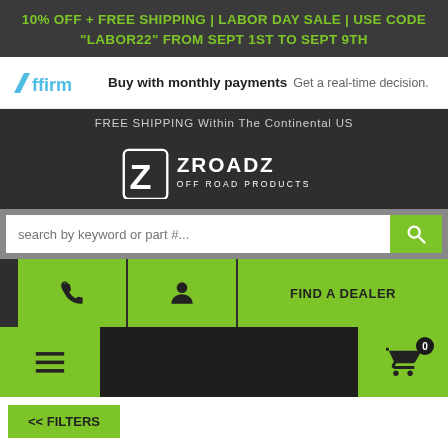10% OFF + FREE SHIPPING | LABOR DAY SALE | USE CODE "LABOR22" FROM SEPT 1ST TO SEPT 9TH
[Figure (logo): Affirm logo with text: Buy with monthly payments. Get a real-time decision.]
FREE SHIPPING Within The Continental US
[Figure (logo): ZROADZ OFF ROAD PRODUCTS logo]
[Figure (screenshot): Search bar with placeholder 'search by keyword or part #...' and green search button]
[Figure (screenshot): Navigation row with phone icon, user icon, and FIND A DEALER button]
[Figure (screenshot): Bottom nav with hamburger menu and cart icon with badge 0]
<< FILTERS
Home - Return to Previous Page
2019 GMC Sierra HD Laser Torch Grille, Black,